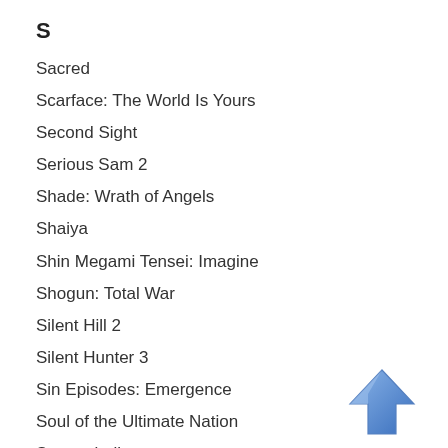S
Sacred
Scarface: The World Is Yours
Second Sight
Serious Sam 2
Shade: Wrath of Angels
Shaiya
Shin Megami Tensei: Imagine
Shogun: Total War
Silent Hill 2
Silent Hunter 3
Sin Episodes: Emergence
Soul of the Ultimate Nation
Spectraball
SpellForce: Shadow of the Phoenix
SpellForce: The Breath of Winter
[Figure (illustration): Blue upward-pointing arrow button icon]